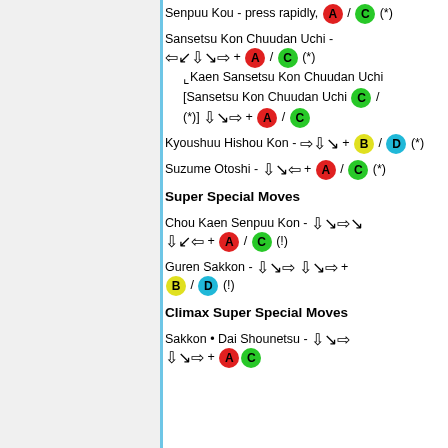Senpuu Kou - press rapidly, A / C (*)
Sansetsu Kon Chuudan Uchi - ← ↙ ↓ ↘ → + A / C (*)
↳ Kaen Sansetsu Kon Chuudan Uchi [Sansetsu Kon Chuudan Uchi C / (*)] ↓ ↘ → + A / C
Kyoushuu Hishou Kon - → ↓ ↘ + B / D (*)
Suzume Otoshi - ↓ ↘ ← + A / C (*)
Super Special Moves
Chou Kaen Senpuu Kon - ↓ ↘ → ↘ ↓ ↙ ← + A / C (!)
Guren Sakkon - ↓ ↘ → ↓ ↘ → + B / D (!)
Climax Super Special Moves
Sakkon • Dai Shounetsu - ↓ ↘ → ↓ ↘ → + A C